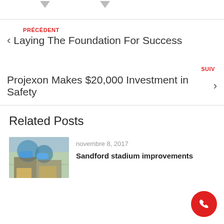[Figure (other): Two downward-pointing gray arrow icons at the top of the page]
PRÉCÉDENT
Laying The Foundation For Success
SUIV
Projexon Makes $20,000 Investment in Safety
Related Posts
[Figure (photo): Two construction workers in hard hats looking at blueprints]
novembre 8, 2017
Sandford stadium improvements